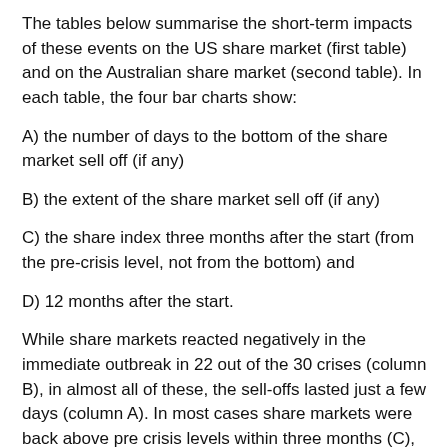The tables below summarise the short-term impacts of these events on the US share market (first table) and on the Australian share market (second table). In each table, the four bar charts show:
A) the number of days to the bottom of the share market sell off (if any)
B) the extent of the share market sell off (if any)
C) the share index three months after the start (from the pre-crisis level, not from the bottom) and
D) 12 months after the start.
While share markets reacted negatively in the immediate outbreak in 22 out of the 30 crises (column B), in almost all of these, the sell-offs lasted just a few days (column A). In most cases share markets were back above pre crisis levels within three months (C), and nearly all were ahead after 12 months